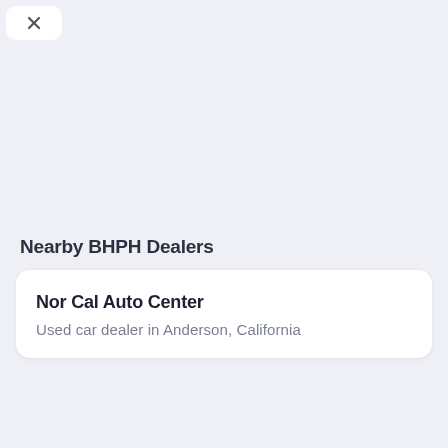[Figure (screenshot): Close/dismiss button (X icon) in top-left corner, white rounded rectangle on gray background]
Nearby BHPH Dealers
Nor Cal Auto Center
Used car dealer in Anderson, California